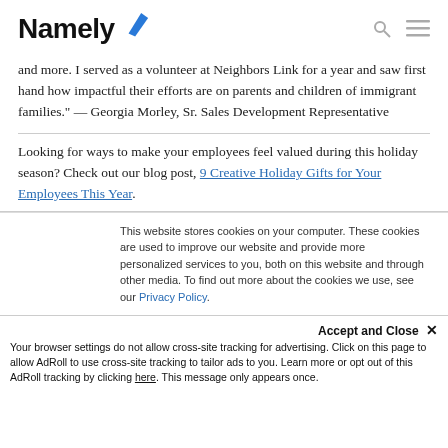Namely
and more. I served as a volunteer at Neighbors Link for a year and saw first hand how impactful their efforts are on parents and children of immigrant families." — Georgia Morley, Sr. Sales Development Representative
Looking for ways to make your employees feel valued during this holiday season? Check out our blog post, 9 Creative Holiday Gifts for Your Employees This Year.
This website stores cookies on your computer. These cookies are used to improve our website and provide more personalized services to you, both on this website and through other media. To find out more about the cookies we use, see our Privacy Policy.
Accept and Close ✕
Your browser settings do not allow cross-site tracking for advertising. Click on this page to allow AdRoll to use cross-site tracking to tailor ads to you. Learn more or opt out of this AdRoll tracking by clicking here. This message only appears once.